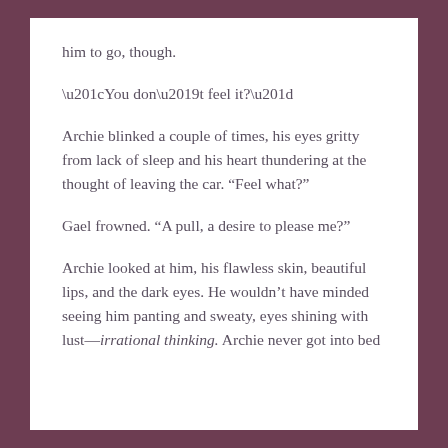him to go, though.
“You don’t feel it?”
Archie blinked a couple of times, his eyes gritty from lack of sleep and his heart thundering at the thought of leaving the car. “Feel what?”
Gael frowned. “A pull, a desire to please me?”
Archie looked at him, his flawless skin, beautiful lips, and the dark eyes. He wouldn’t have minded seeing him panting and sweaty, eyes shining with lust—irrational thinking. Archie never got into bed